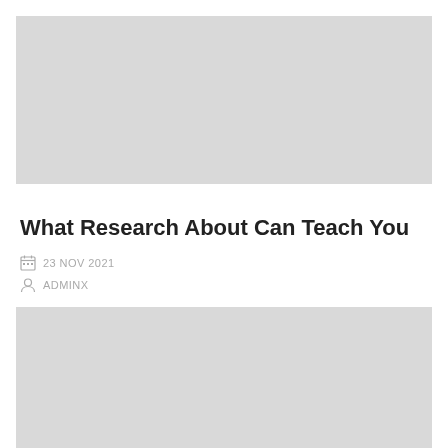[Figure (photo): Gray placeholder image at top of article card]
What Research About Can Teach You
23 NOV 2021
ADMINX
[Figure (photo): Gray placeholder image at bottom of article card]